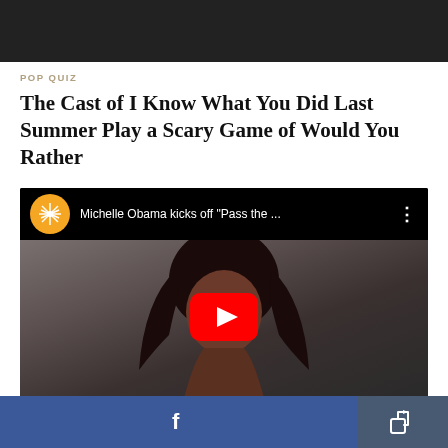[Figure (other): Dark top banner/header area]
POP QUIZ
The Cast of I Know What You Did Last Summer Play a Scary Game of Would You Rather
[Figure (screenshot): YouTube video thumbnail showing Michelle Obama with title 'Michelle Obama kicks off "Pass the ...' and a YouTube play button overlay]
[Figure (other): Bottom action bar with Facebook share button and a generic share/export button]